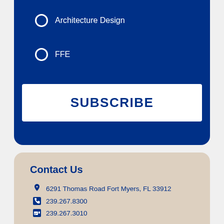Architecture Design
FFE
SUBSCRIBE
Contact Us
6291 Thomas Road Fort Myers, FL 33912
239.267.8300
239.267.3010
suncoast@suncoastfurniture.com
Follow us on Social Media